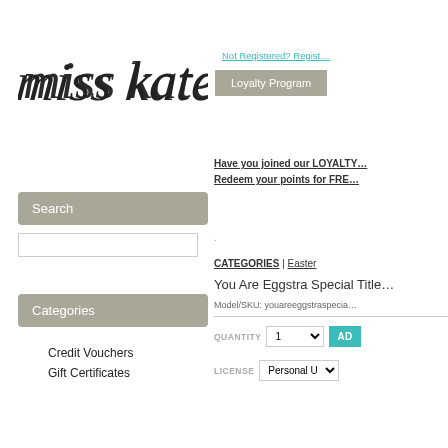[Figure (logo): Miss Kate cursive script logo in dark charcoal handwritten style]
Not Registered? Regist…
Loyalty Program
Have you joined our LOYALTY… Redeem your points for FRE…
Search
Categories
Credit Vouchers
Gift Certificates
CATEGORIES | Easter
You Are Eggstra Special Title…
Model/SKU: youareeggstraspecia…
QUANTITY  1  AD…
LICENSE  Personal Use…